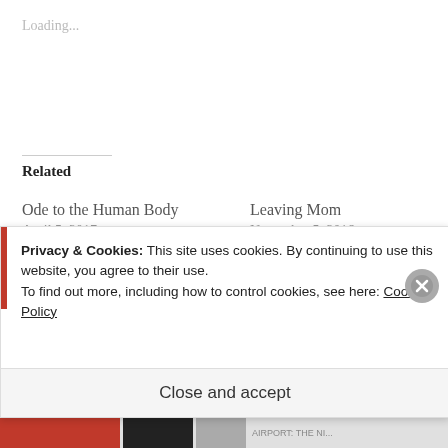Loading...
Related
Ode to the Human Body
April 5, 2017
With 8 comments
Leaving Mom
November 5, 2016
With 5 comments
What Makes for a Good Day?
November 17, 2017
In “alzheimer’s”
Privacy & Cookies: This site uses cookies. By continuing to use this website, you agree to their use.
To find out more, including how to control cookies, see here: Cookie Policy
Close and accept